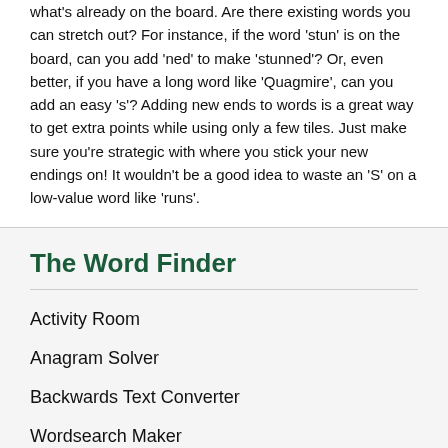what's already on the board. Are there existing words you can stretch out? For instance, if the word 'stun' is on the board, can you add 'ned' to make 'stunned'? Or, even better, if you have a long word like 'Quagmire', can you add an easy 's'? Adding new ends to words is a great way to get extra points while using only a few tiles. Just make sure you're strategic with where you stick your new endings on! It wouldn't be a good idea to waste an 'S' on a low-value word like 'runs'.
The Word Finder
Activity Room
Anagram Solver
Backwards Text Converter
Wordsearch Maker
Play Sudoku Puzzles